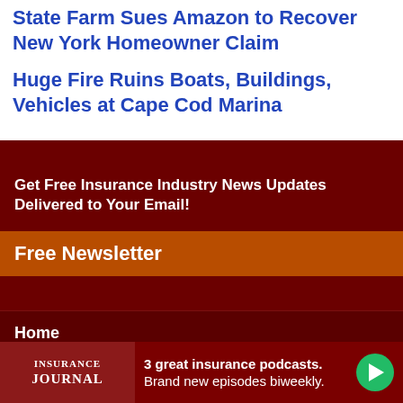State Farm Sues Amazon to Recover New York Homeowner Claim
Huge Fire Ruins Boats, Buildings, Vehicles at Cape Cod Marina
Get Free Insurance Industry News Updates Delivered to Your Email!
Free Newsletter
Home
News
Magazines
[Figure (advertisement): Insurance Journal advertisement banner: logo on left, text '3 great insurance podcasts. Brand new episodes biweekly.' with green play button on right]